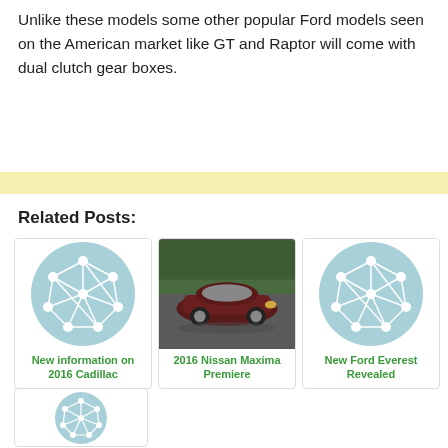Unlike these models some other popular Ford models seen on the American market like GT and Raptor will come with dual clutch gear boxes.
[Figure (other): Yellow/cream horizontal banner bar]
Related Posts:
[Figure (illustration): Card with circular network graph icon - New information on 2016 Cadillac]
[Figure (photo): Card with photo of a dark red/maroon car (2016 Nissan Maxima Premiere) on wet road]
[Figure (illustration): Card with circular network graph icon - New Ford Everest Revealed]
[Figure (illustration): Partial card with circular network graph icon at bottom of page]